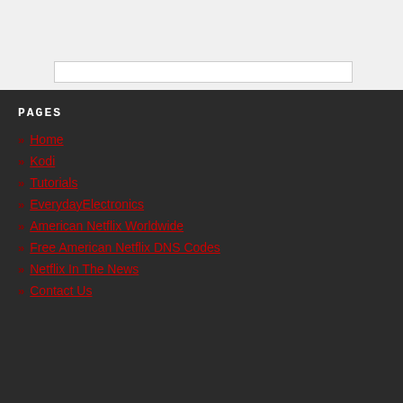PAGES
Home
Kodi
Tutorials
EverydayElectronics
American Netflix Worldwide
Free American Netflix DNS Codes
Netflix In The News
Contact Us